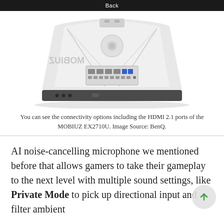Back
[Figure (photo): Rear view of the BenQ MOBIUZ EX2710U monitor showing connectivity ports including HDMI 2.1 ports, USB ports, and other connections on the back panel. The monitor has a white/silver finish.]
You can see the connectivity options including the HDMI 2.1 ports of the MOBIUZ EX2710U. Image Source: BenQ.
AI noise-cancelling microphone we mentioned before that allows gamers to take their gameplay to the next level with multiple sound settings, like Private Mode to pick up directional input and filter ambient